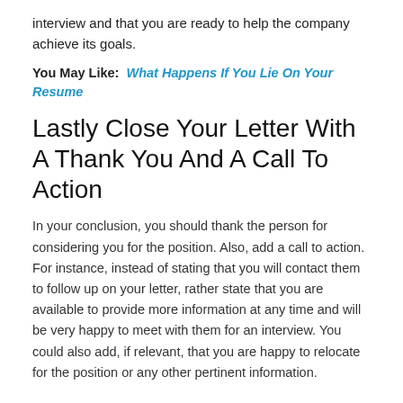interview and that you are ready to help the company achieve its goals.
You May Like:  What Happens If You Lie On Your Resume
Lastly Close Your Letter With A Thank You And A Call To Action
In your conclusion, you should thank the person for considering you for the position. Also, add a call to action. For instance, instead of stating that you will contact them to follow up on your letter, rather state that you are available to provide more information at any time and will be very happy to meet with them for an interview. You could also add, if relevant, that you are happy to relocate for the position or any other pertinent information.